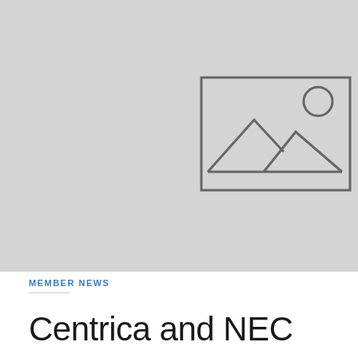[Figure (illustration): Grey placeholder image box with generic image icon (mountain landscape with sun and rectangle border) centered on a light grey background]
MEMBER NEWS
Centrica and NEC announce energy service partnership
20th August 2020  |  by esta_sadmin